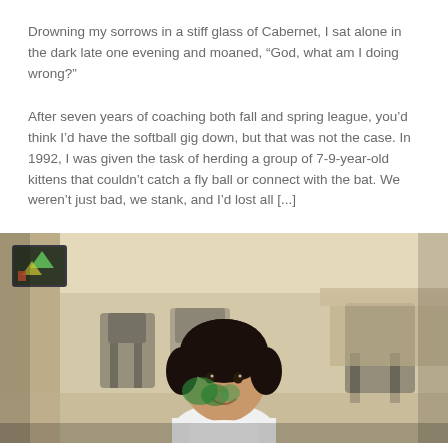Drowning my sorrows in a stiff glass of Cabernet, I sat alone in the dark late one evening and moaned, “God, what am I doing wrong?”
After seven years of coaching both fall and spring league, you’d think I’d have the softball gig down, but that was not the case. In 1992, I was given the task of herding a group of 7-9-year-old kittens that couldn’t catch a fly ball or connect with the bat. We weren’t just bad, we stank, and I’d lost all [...]
[Figure (photo): A young child with dark hair and green face paint smiles at the camera in what appears to be a classroom setting with chairs and blurred background.]